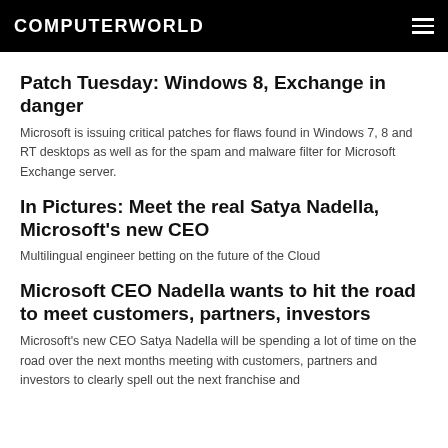COMPUTERWORLD
Patch Tuesday: Windows 8, Exchange in danger
Microsoft is issuing critical patches for flaws found in Windows 7, 8 and RT desktops as well as for the spam and malware filter for Microsoft Exchange server.
In Pictures: Meet the real Satya Nadella, Microsoft's new CEO
Multilingual engineer betting on the future of the Cloud
Microsoft CEO Nadella wants to hit the road to meet customers, partners, investors
Microsoft's new CEO Satya Nadella will be spending a lot of time on the road over the next months meeting with customers, partners and investors to clearly spell out the next franchise and